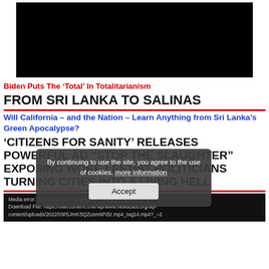[Figure (screenshot): Black video player rectangle at top of page]
Biden Puts The ‘Total’ In Totalitarianism
FROM SRI LANKA TO SALINAS
Will California – and the Nation – Learn Anything from Sri Lanka’s Green Apocalypse?
‘CITIZENS FOR SANITY’ RELEASES POWERFUL AD “STOP THE SLAUGHTER” EXPOSING WOKE LEFTIST POLITICIANS TURNING CITIES INTO A LIVING HELL
[Figure (screenshot): Cookie consent popup overlay: 'By continuing to use the site, you agree to the use of cookies. more information' with Accept button]
Media error: Format(s) not supported or source(s) not found
Download File: https://usercontent.one/wp/www.newscats.org/wp-content/uploads/2022/09/SJmKSQZusm6P2lz.mp4_tag14.mp4?_=2